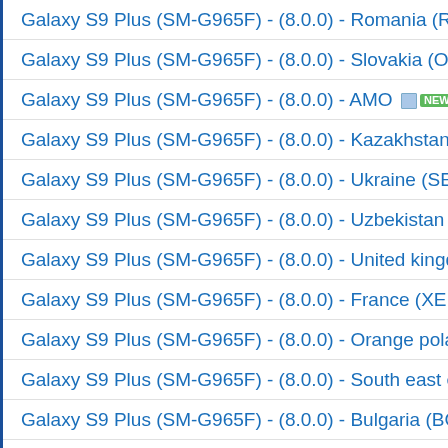Galaxy S9 Plus (SM-G965F) - (8.0.0) - Romania (ROM)
Galaxy S9 Plus (SM-G965F) - (8.0.0) - Slovakia (ORS)
Galaxy S9 Plus (SM-G965F) - (8.0.0) - AMO NEW!
Galaxy S9 Plus (SM-G965F) - (8.0.0) - Kazakhstan (SK...
Galaxy S9 Plus (SM-G965F) - (8.0.0) - Ukraine (SEK)
Galaxy S9 Plus (SM-G965F) - (8.0.0) - Uzbekistan (CAC...
Galaxy S9 Plus (SM-G965F) - (8.0.0) - United kingdom
Galaxy S9 Plus (SM-G965F) - (8.0.0) - France (XEF)
Galaxy S9 Plus (SM-G965F) - (8.0.0) - Orange poland (O...
Galaxy S9 Plus (SM-G965F) - (8.0.0) - South east europ...
Galaxy S9 Plus (SM-G965F) - (8.0.0) - Bulgaria (BGL...